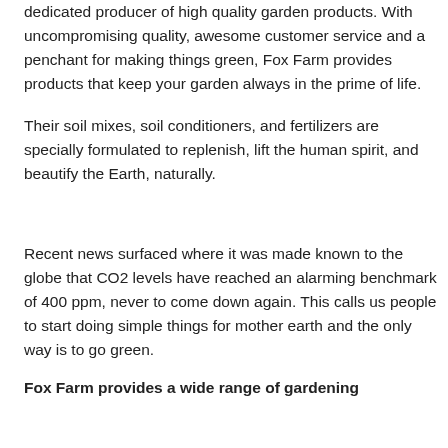dedicated producer of high quality garden products. With uncompromising quality, awesome customer service and a penchant for making things green, Fox Farm provides products that keep your garden always in the prime of life.
Their soil mixes, soil conditioners, and fertilizers are specially formulated to replenish, lift the human spirit, and beautify the Earth, naturally.
Recent news surfaced where it was made known to the globe that CO2 levels have reached an alarming benchmark of 400 ppm, never to come down again. This calls us people to start doing simple things for mother earth and the only way is to go green.
Fox Farm provides a wide range of gardening